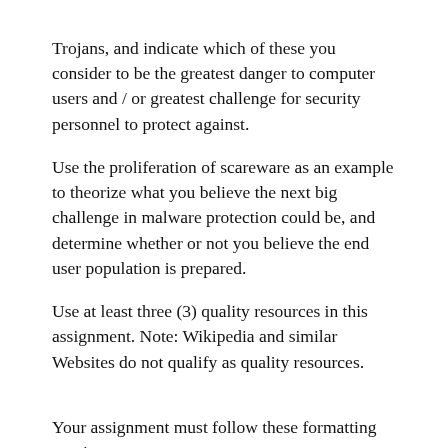Trojans, and indicate which of these you consider to be the greatest danger to computer users and / or greatest challenge for security personnel to protect against. Use the proliferation of scareware as an example to theorize what you believe the next big challenge in malware protection could be, and determine whether or not you believe the end user population is prepared. Use at least three (3) quality resources in this assignment. Note: Wikipedia and similar Websites do not qualify as quality resources.
Your assignment must follow these formatting requirements: